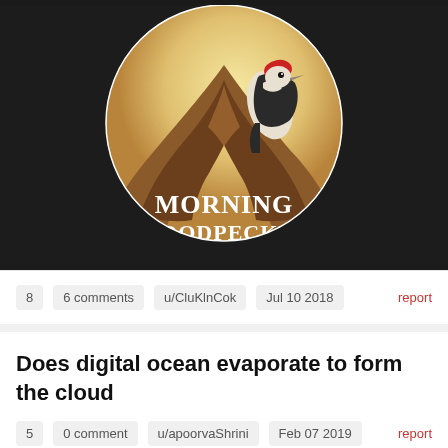[Figure (illustration): A circular illustration showing a woodpecker bird on a brown flowing cape/robe shape against a warm light background, with text 'MORNING WOODPECKER' in bold serif font at the bottom of the circle. The circle sits on a dark background.]
8   6 comments   u/CluKlnCok   Jul 10 2018   report
Does digital ocean evaporate to form the cloud
5   0 comment   u/apoorvaShrini   Feb 07 2019   report